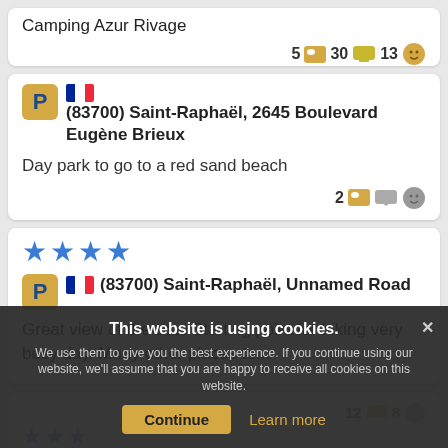Camping Azur Rivage
5 [photo] 30 [comment] 13 [smile]
(83700) Saint-Raphaël, 2645 Boulevard Eugène Brieux
Day park to go to a red sand beach
2 [photo] [comment] [smile]
(83700) Saint-Raphaël, Unnamed Road
Great view of the sea. Starting point for hiking very busy day. Many other places to...
12 [icon] 8 [icon]
(8370... [partial]
This website is using cookies.
We use them to give you the best experience. If you continue using our website, we'll assume that you are happy to receive all cookies on this website.
Continue
Learn more